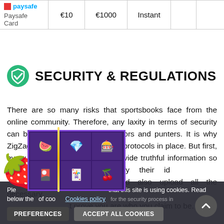| Payment Method | Min Deposit | Max Deposit | Processing Time |  |  |
| --- | --- | --- | --- | --- | --- |
| Paysafe Card | €10 | €1000 | Instant |  |  |
SECURITY & REGULATIONS
There are so many risks that sportsbooks face from the online community. Therefore, any laxity in terms of security can be detrimental to the operators and punters. It is why ZigZagSport has various security protocols in place. But first, every gambler is obligated to provide truthful information so that the operator can verify their identity. They should also upload all the necessary documents to prove you are who you claim to be. By...
Please note that this site is using cookies. Read below the use of cookies. Cookies policy